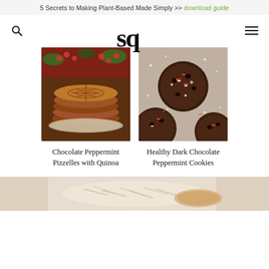5 Secrets to Making Plant-Based Made Simply >> download guide
[Figure (logo): SQ logo – stylized letters 'sq' in bold serif font]
[Figure (photo): Stack of chocolate peppermint pizzelles on a plate with cranberries and greenery in background]
Chocolate Peppermint Pizzelles with Quinoa
[Figure (photo): Healthy dark chocolate peppermint cookies on parchment paper with crushed candy cane toppings]
Healthy Dark Chocolate Peppermint Cookies
[Figure (photo): Partial image at bottom showing what appears to be a light-colored food item, possibly rice or coconut-based]